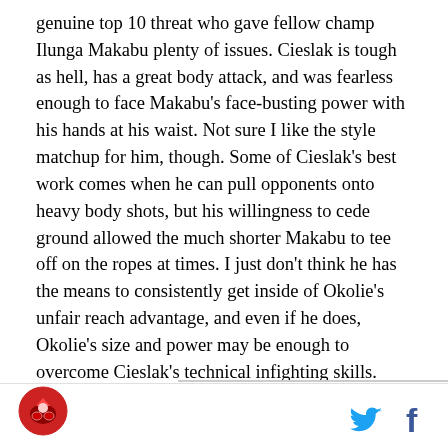genuine top 10 threat who gave fellow champ Ilunga Makabu plenty of issues. Cieslak is tough as hell, has a great body attack, and was fearless enough to face Makabu's face-busting power with his hands at his waist. Not sure I like the style matchup for him, though. Some of Cieslak's best work comes when he can pull opponents onto heavy body shots, but his willingness to cede ground allowed the much shorter Makabu to tee off on the ropes at times. I just don't think he has the means to consistently get inside of Okolie's unfair reach advantage, and even if he does, Okolie's size and power may be enough to overcome Cieslak's technical infighting skills.
[Figure (logo): Circular red logo with boxing imagery in the bottom left footer]
[Figure (other): Twitter bird icon and Facebook f icon in the bottom right footer]